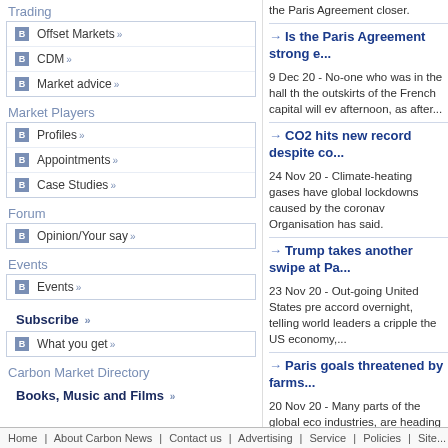Trading
Offset Markets »
CDM »
Market advice »
Market Players
Profiles »
Appointments »
Case Studies »
Forum
Opinion/Your say »
Events
Events »
Subscribe »
What you get »
Carbon Market Directory
Books, Music and Films »
the Paris Agreement closer.
→ Is the Paris Agreement strong e...
9 Dec 20 - No-one who was in the hall the outskirts of the French capital will ev afternoon, as after...
→ CO2 hits new record despite co...
24 Nov 20 - Climate-heating gases have global lockdowns caused by the coronav Organisation has said.
→ Trump takes another swipe at Pa...
23 Nov 20 - Out-going United States pre accord overnight, telling world leaders a cripple the US economy,...
→ Paris goals threatened by farms...
20 Nov 20 - Many parts of the global eco industries, are heading in the wrong dire global warming to...
→ NZ called out over 2030 target
19 Nov 20 - New Zealand is being accu "defaulting on climate survival leadership...
→ More in the Paris Agreement Archiv...
Home | About Carbon News | Contact us | Advertising | Service | Policies | Site...